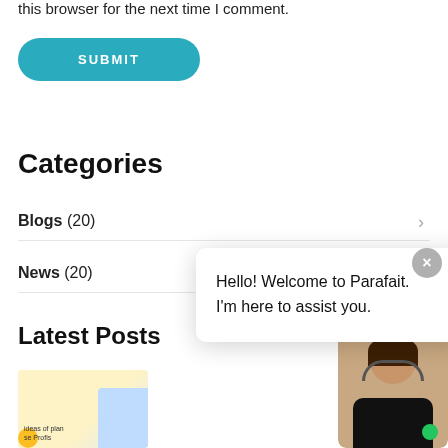this browser for the next time I comment.
SUBMIT
Categories
Blogs (20)
News (20)
Latest Posts
[Figure (photo): Thumbnail image for a latest post, with yellow circle and figure in blue background]
Hello! Welcome to Parafait. I'm here to assist you.
[Figure (photo): Customer support agent avatar with headset and green online indicator dot]